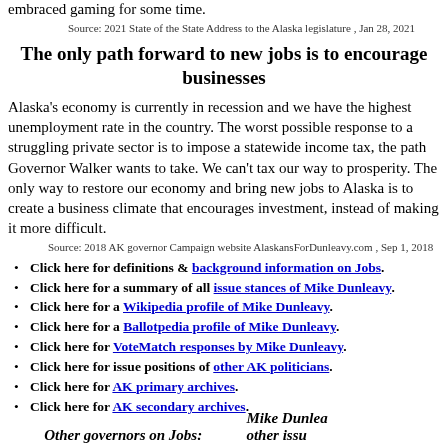embraced gaming for some time.
Source: 2021 State of the State Address to the Alaska legislature , Jan 28, 2021
The only path forward to new jobs is to encourage businesses
Alaska's economy is currently in recession and we have the highest unemployment rate in the country. The worst possible response to a struggling private sector is to impose a statewide income tax, the path Governor Walker wants to take. We can't tax our way to prosperity. The only way to restore our economy and bring new jobs to Alaska is to create a business climate that encourages investment, instead of making it more difficult.
Source: 2018 AK governor Campaign website AlaskansForDunleavy.com , Sep 1, 2018
Click here for definitions & background information on Jobs.
Click here for a summary of all issue stances of Mike Dunleavy.
Click here for a Wikipedia profile of Mike Dunleavy.
Click here for a Ballotpedia profile of Mike Dunleavy.
Click here for VoteMatch responses by Mike Dunleavy.
Click here for issue positions of other AK politicians.
Click here for AK primary archives.
Click here for AK secondary archives.
Other governors on Jobs:    Mike Dunleavy on other issu…